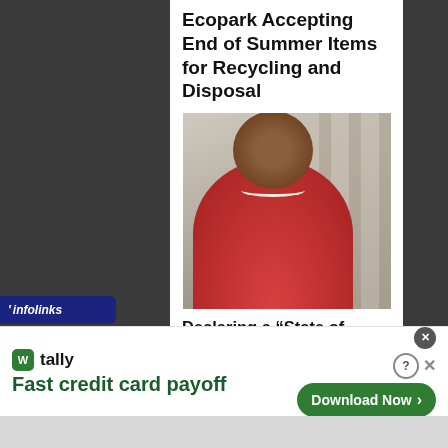Ecopark Accepting End of Summer Items for Recycling and Disposal
[Figure (photo): Portrait photo of a Black woman in a red blazer with pearl necklace, posed in front of classical stone columns]
Declaring a “State of Emergency” Black Civic
infolinks
tally
Fast credit card payoff
Download Now